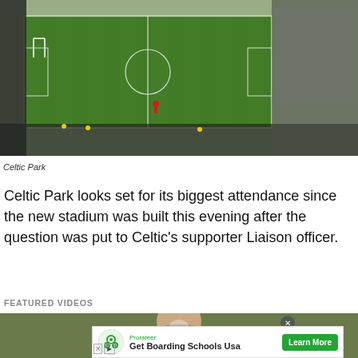[Figure (photo): Aerial view of Celtic Park football stadium with green pitch, goal posts, stands with sparse crowd, and a person in red on the field.]
Celtic Park
Celtic Park looks set for its biggest attendance since the new stadium was built this evening after the question was put to Celtic's supporter Liaison officer.
FEATURED VIDEOS
[Figure (screenshot): Video thumbnail showing a man's face in front of an olive/green background with a play button overlay, and an advertisement bar at the bottom for Prorateer 'Get Boarding Schools Usa' with a green Learn More button.]